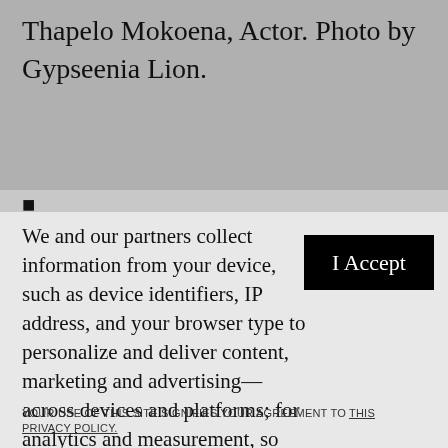Thapelo Mokoena, Actor. Photo by Gypseenia Lion.
■
We and our partners collect information from your device, such as device identifiers, IP address, and your browser type to personalize and deliver content, marketing and advertising—across devices and platforms; for analytics and measurement, so we can improve our services and develop new ones; and for social features. By clicking “I accept”, you consent to our use of these Cookies. Visit our Privacy Policy to learn more.
I Accept
YOUR USE OF THIS SITE SIGNIFIES YOUR AGREEMENT TO THIS PRIVACY POLICY.